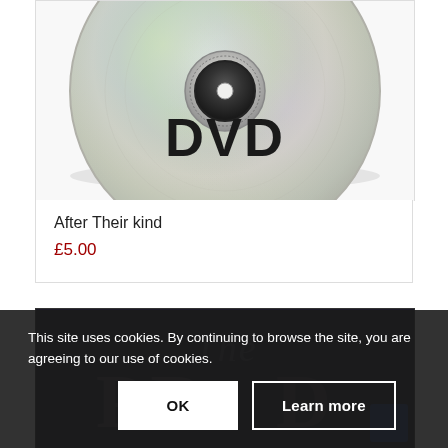[Figure (photo): A DVD disc photographed from above, showing the iridescent silver surface with the word DVD printed in large black letters in the center area. The disc hub and inner ring are visible at the top.]
After Their kind
£5.00
[Figure (screenshot): Dark background product card showing italic script text 'The' and large shadowed bold text partially visible, for a second product.]
This site uses cookies. By continuing to browse the site, you are agreeing to our use of cookies.